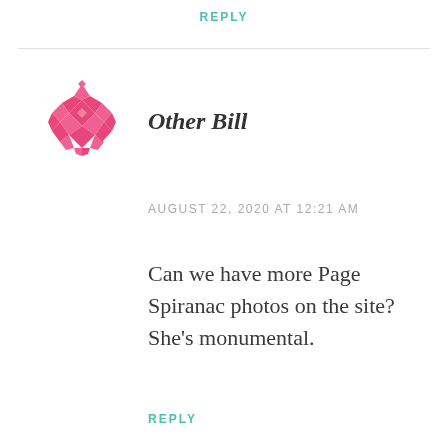REPLY
[Figure (illustration): Pink geometric/mosaic avatar icon with diamond and triangle pattern shapes arranged in a circular form]
Other Bill
AUGUST 22, 2020 AT 12:21 AM
Can we have more Page Spiranac photos on the site? She’s monumental.
REPLY